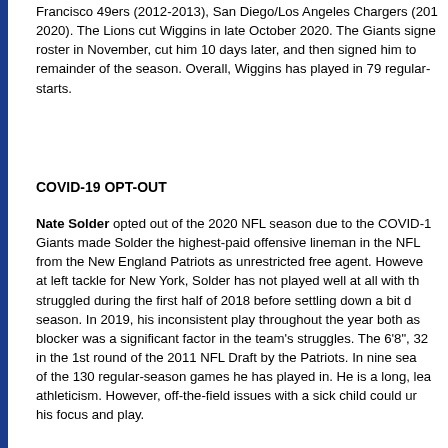Francisco 49ers (2012-2013), San Diego/Los Angeles Chargers (2019-2020). The Lions cut Wiggins in late October 2020. The Giants signed him to their roster in November, cut him 10 days later, and then signed him to their roster for the remainder of the season. Overall, Wiggins has played in 79 regular-season games with starts.
COVID-19 OPT-OUT
Nate Solder opted out of the 2020 NFL season due to the COVID-19 pandemic. The Giants made Solder the highest-paid offensive lineman in the NFL when they signed him from the New England Patriots as unrestricted free agent. However, expected to excel at left tackle for New York, Solder has not played well at all with the Giants. He struggled during the first half of 2018 before settling down a bit during the second half of the season. In 2019, his inconsistent play throughout the year both as a pass protector and run blocker was a significant factor in the team's struggles. The 6'8", 32... in the 1st round of the 2011 NFL Draft by the Patriots. In nine seasons he has started... of the 130 regular-season games he has played in. He is a long, lean tackle with good athleticism. However, off-the-field issues with a sick child could undermine his focus and play.